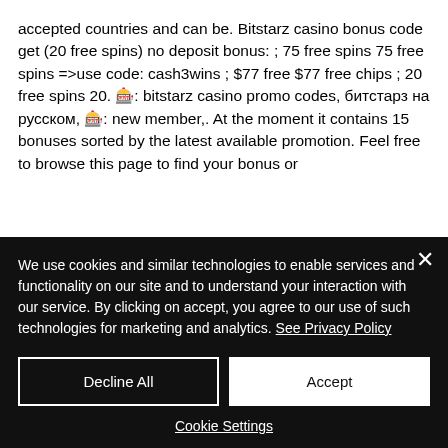accepted countries and can be. Bitstarz casino bonus code get (20 free spins) no deposit bonus: ; 75 free spins 75 free spins =&gt;use code: cash3wins ; $77 free $77 free chips ; 20 free spins 20. 🎰: bitstarz casino promo codes, битстарз на русском, 🎰: new member,. At the moment it contains 15 bonuses sorted by the latest available promotion. Feel free to browse this page to find your bonus or
We use cookies and similar technologies to enable services and functionality on our site and to understand your interaction with our service. By clicking on accept, you agree to our use of such technologies for marketing and analytics. See Privacy Policy
Decline All
Accept
Cookie Settings